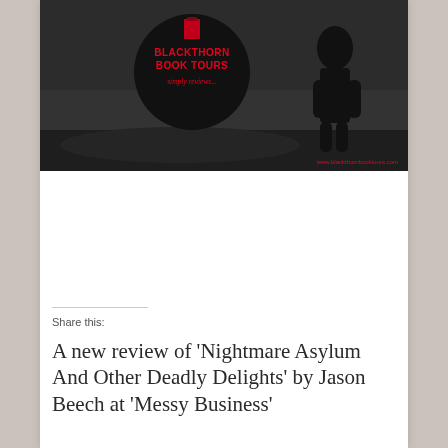[Figure (logo): Blackthorn Book Tours banner image: dark/monochrome photograph of a landscape with a circular logo reading 'BLACKTHORN BOOK TOURS simply reviews...' in red on black, a silhouetted figure on the right, and website URL www.blackthornbooktours.com in red at bottom right.]
Share this:
A new review of ‘Nightmare Asylum And Other Deadly Delights’ by Jason Beech at ‘Messy Business’
[Figure (screenshot): Messy Business – Books, Writing, Stuff blog header image: dark background with a road/path and green cursive text reading 'Messy Business – Books, Writing, Stuff' with a subtitle line below.]